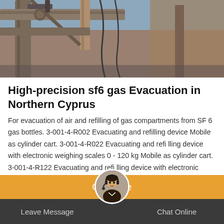[Figure (photo): Industrial gas equipment/pipes and valves, close-up photo with brownish and grey tones]
High-precision sf6 gas Evacuation in Northern Cyprus
For evacuation of air and refilling of gas compartments from SF 6 gas bottles. 3-001-4-R002 Evacuating and refilling device Mobile as cylinder cart. 3-001-4-R022 Evacuating and refi lling device with electronic weighing scales 0 - 120 kg Mobile as cylinder cart. 3-001-4-R122 Evacuating and refi lling device with electronic weighing scales 0 - 150 kg